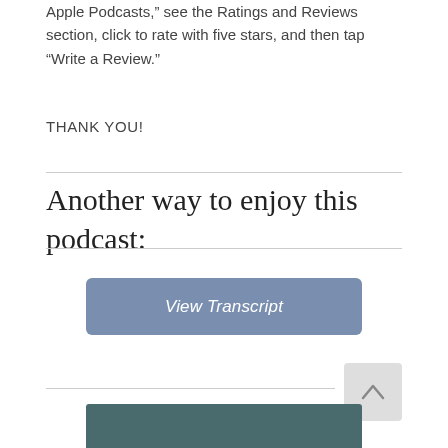Apple Podcasts," see the Ratings and Reviews section, click to rate with five stars, and then tap “Write a Review.”
THANK YOU!
Another way to enjoy this podcast:
[Figure (other): Blue-grey rounded rectangle button labeled 'View Transcript' in white italic text]
[Figure (other): Light grey square back-to-top button with an upward chevron arrow icon]
[Figure (other): Dark teal/slate colored banner at the bottom of the page]